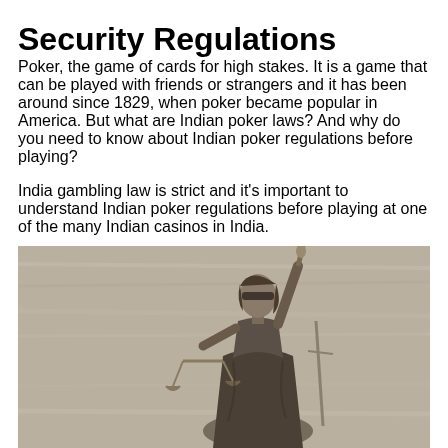Security Regulations
Poker, the game of cards for high stakes. It is a game that can be played with friends or strangers and it has been around since 1829, when poker became popular in America. But what are Indian poker laws? And why do you need to know about Indian poker regulations before playing?
India gambling law is strict and it's important to understand Indian poker regulations before playing at one of the many Indian casinos in India.
[Figure (photo): Bronze statue of Lady Justice (Themis) holding scales of justice and a sword, blindfolded, against a wooden background.]